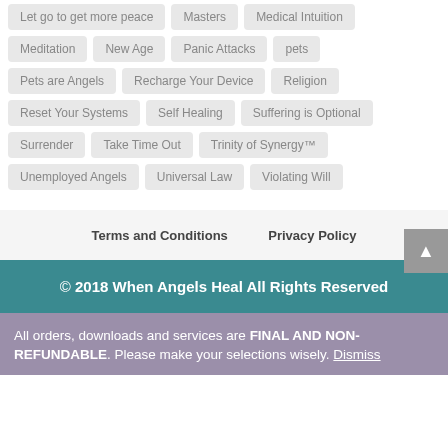Let go to get more peace
Masters
Medical Intuition
Meditation
New Age
Panic Attacks
pets
Pets are Angels
Recharge Your Device
Religion
Reset Your Systems
Self Healing
Suffering is Optional
Surrender
Take Time Out
Trinity of Synergy™
Unemployed Angels
Universal Law
Violating Will
Terms and Conditions   Privacy Policy
© 2018 When Angels Heal All Rights Reserved
All orders, downloads and services are FINAL AND NON-REFUNDABLE. Please make your selections wisely. Dismiss